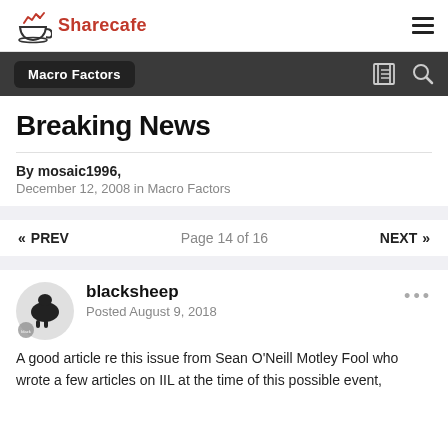Sharecafe
Macro Factors
Breaking News
By mosaic1996,
December 12, 2008 in Macro Factors
« PREV   Page 14 of 16   NEXT »
blacksheep
Posted August 9, 2018
A good article re this issue from Sean O'Neill Motley Fool who wrote a few articles on IIL at the time of this possible event,